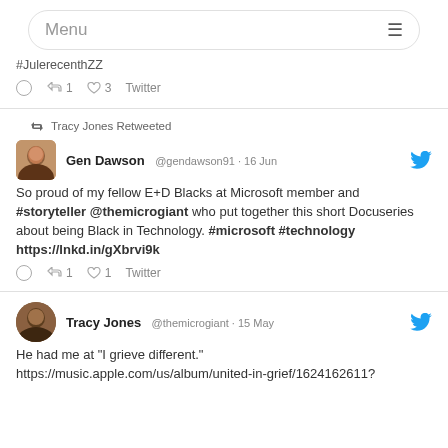Menu
#JulerecenthZZ
reply retweet 1 like 3 Twitter
Tracy Jones Retweeted
Gen Dawson @gendawson91 · 16 Jun
So proud of my fellow E+D Blacks at Microsoft member and #storyteller @themicrogiant who put together this short Docuseries about being Black in Technology. #microsoft #technology https://lnkd.in/gXbrvi9k
reply retweet 1 like 1 Twitter
Tracy Jones @themicrogiant · 15 May
He had me at "I grieve different." https://music.apple.com/us/album/united-in-grief/1624162611?